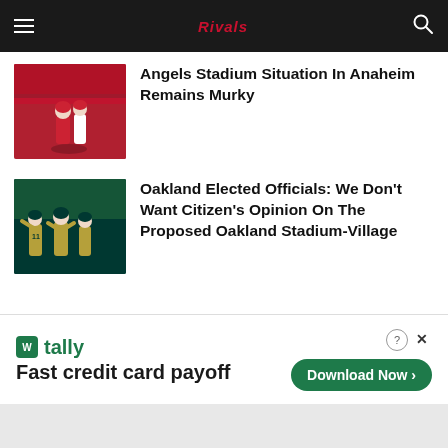Navigation bar with hamburger menu, site logo (Rivals), and search icon
[Figure (photo): Angels baseball players in red and white uniforms on the field]
Angels Stadium Situation In Anaheim Remains Murky
[Figure (photo): Oakland A's baseball players in green and yellow uniforms celebrating]
Oakland Elected Officials: We Don’t Want Citizen’s Opinion On The Proposed Oakland Stadium-Village
[Figure (other): Tally app advertisement: Fast credit card payoff. Download Now button.]